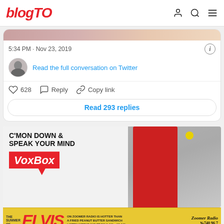blogTO
5:34 PM · Nov 23, 2019
Read the full conversation on Twitter
628  Reply  Copy link
Read 293 replies
[Figure (screenshot): Advertisement for VoxBox with text 'C'MON DOWN & SPEAK YOUR MIND' and a red VoxBox booth image]
[Figure (screenshot): Bottom advertisement banner for 'The Summer of Elvis on Zoomer Radio is Hotter Than a Fried Peanut Butter Sandwich, Listen Weekdays from 6 AM - 10 AM' with Zoomer Radio 740 96.7]